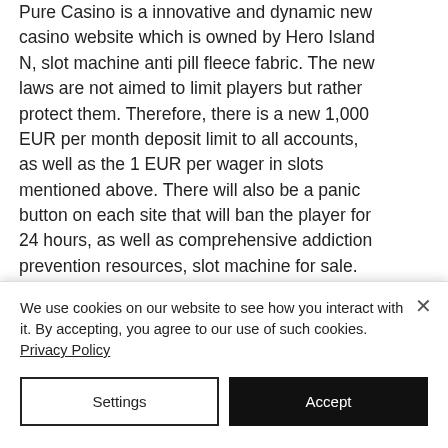Pure Casino is a innovative and dynamic new casino website which is owned by Hero Island N, slot machine anti pill fleece fabric. The new laws are not aimed to limit players but rather protect them. Therefore, there is a new 1,000 EUR per month deposit limit to all accounts, as well as the 1 EUR per wager in slots mentioned above. There will also be a panic button on each site that will ban the player for 24 hours, as well as comprehensive addiction prevention resources, slot machine for sale. So Is It Legal to Play in Germany? The new range features outdoor-inspired
We use cookies on our website to see how you interact with it. By accepting, you agree to our use of such cookies. Privacy Policy